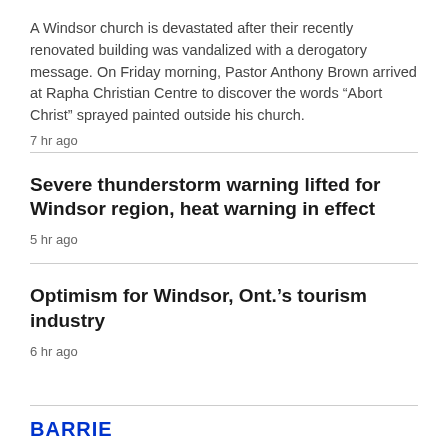A Windsor church is devastated after their recently renovated building was vandalized with a derogatory message. On Friday morning, Pastor Anthony Brown arrived at Rapha Christian Centre to discover the words “Abort Christ” sprayed painted outside his church.
7 hr ago
Severe thunderstorm warning lifted for Windsor region, heat warning in effect
5 hr ago
Optimism for Windsor, Ont.’s tourism industry
6 hr ago
BARRIE